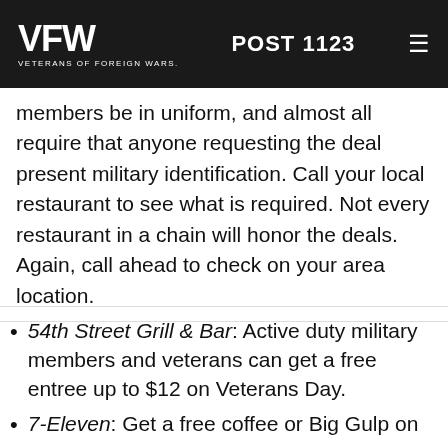VFW VETERANS OF FOREIGN WARS. POST 1123
members be in uniform, and almost all require that anyone requesting the deal present military identification. Call your local restaurant to see what is required. Not every restaurant in a chain will honor the deals. Again, call ahead to check on your area location.
54th Street Grill & Bar: Active duty military members and veterans can get a free entree up to $12 on Veterans Day.
7-Eleven: Get a free coffee or Big Gulp on Veterans Day. Provided the 7-Ele...